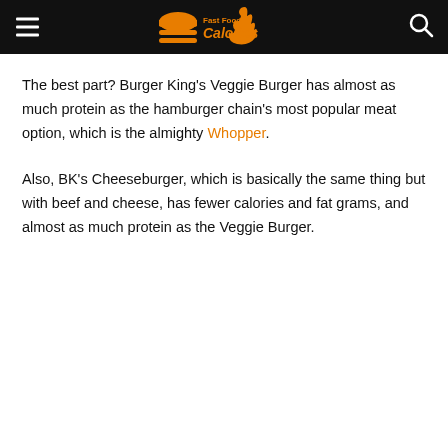Fast Food Calories
The best part? Burger King's Veggie Burger has almost as much protein as the hamburger chain's most popular meat option, which is the almighty Whopper.
Also, BK's Cheeseburger, which is basically the same thing but with beef and cheese, has fewer calories and fat grams, and almost as much protein as the Veggie Burger.